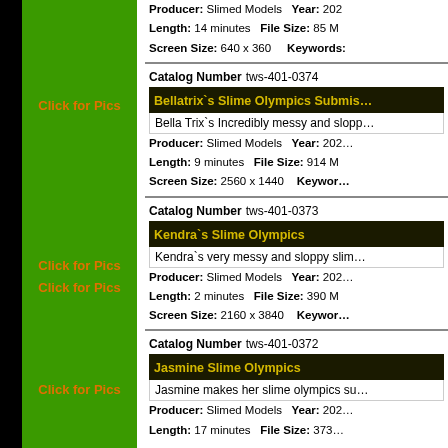Producer: Slimed Models  Year: 202x  Length: 14 minutes  File Size: 85 M  Screen Size: 640 x 360  Keywords:
Catalog Number  tws-401-0374
Bellatrix`s Slime Olympics Submis...
Bella Trix`s Incredibly messy and slopp...
Producer: Slimed Models  Year: 202x  Length: 9 minutes  File Size: 914 M  Screen Size: 2560 x 1440  Keywords:
Click for Pics
Catalog Number  tws-401-0373
Kendra`s Slime Olympics
Kendra`s very messy and sloppy slim...
Producer: Slimed Models  Year: 202x  Length: 2 minutes  File Size: 390 M  Screen Size: 2160 x 3840  Keywords:
Click for Pics
Catalog Number  tws-401-0372
Jasmine Slime Olympics
Jasmine makes her slime olympics su...
Producer: Slimed Models  Year: 202x  Length: 17 minutes  File Size: 373...
Click for Pics